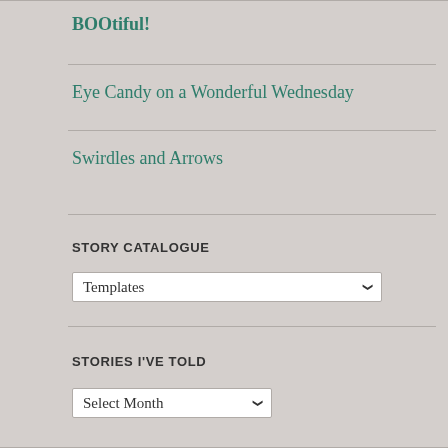BOOtiful!
Eye Candy on a Wonderful Wednesday
Swirdles and Arrows
STORY CATALOGUE
Templates (dropdown)
STORIES I'VE TOLD
Select Month (dropdown)